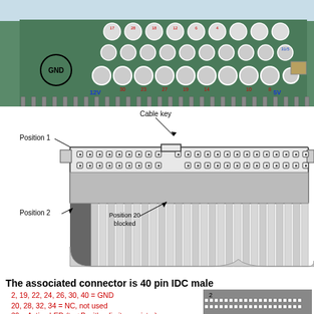[Figure (photo): Photo of a green PCB showing circular solder pads with labeled voltages (12V, 5V, GND) and numbered pin positions in red and blue text.]
[Figure (engineering-diagram): Engineering diagram of a 40-pin IDC male connector showing two rows of pins, with labels: Cable key, Position 1, Position 2, Position 20 blocked. Flat ribbon cable is shown below the connector body.]
The associated connector is 40 pin IDC male
2, 19, 22, 24, 26, 30, 40 = GND
20, 28, 32, 34 = NC, not used
39 = Active LED (to +B with a limiter resistor)
[Figure (engineering-diagram): Small diagram showing a 40-pin IDC male connector (2 rows of 20 pins) with pin 2 labeled.]